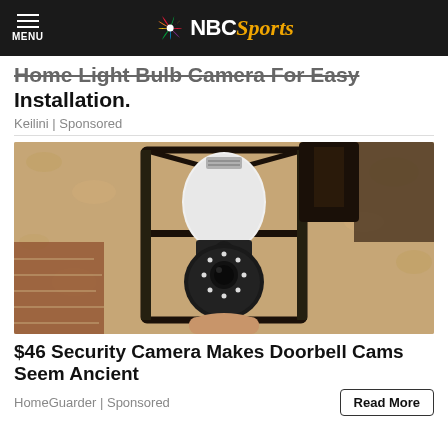MENU | NBC Sports
Home Light Bulb Camera For Easy Installation.
Keilini | Sponsored
[Figure (photo): A home security light bulb camera installed in an outdoor lantern-style fixture mounted on a stucco wall. The camera is a white bulb-shaped device with a black band and LED ring at the bottom.]
$46 Security Camera Makes Doorbell Cams Seem Ancient
HomeGuarder | Sponsored